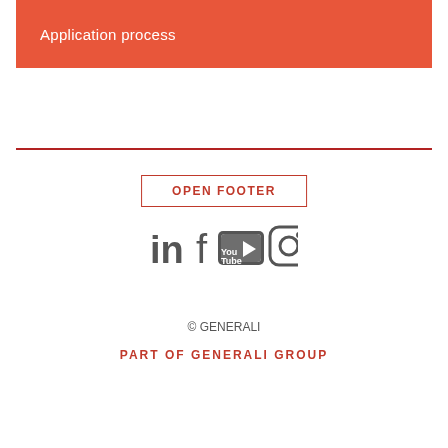Application process
[Figure (other): Horizontal red divider line separating header section from footer content]
OPEN FOOTER
[Figure (other): Social media icons row: LinkedIn, Facebook, YouTube, Instagram in dark grey]
© GENERALI
PART OF GENERALI GROUP